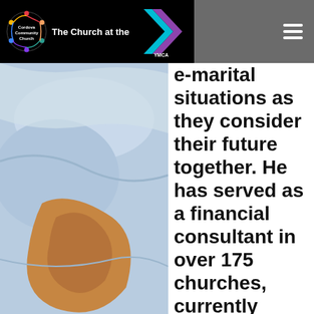Cordova Community Church — The Church at the YMCA
[Figure (photo): Close-up photo of a person's arm and clothing in light blue fabric]
e-marital situations as they consider their future together. He has served as a financial consultant in over 175 churches, currently